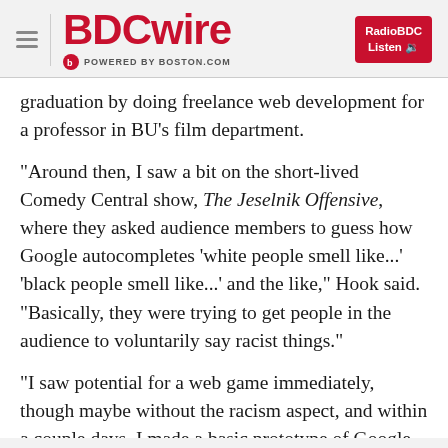BDCwire POWERED BY BOSTON.COM
graduation by doing freelance web development for a professor in BU's film department.
"Around then, I saw a bit on the short-lived Comedy Central show, The Jeselnik Offensive, where they asked audience members to guess how Google autocompletes 'white people smell like...' 'black people smell like...' and the like," Hook said. "Basically, they were trying to get people in the audience to voluntarily say racist things."
"I saw potential for a web game immediately, though maybe without the racism aspect, and within a couple days, I made a basic prototype of Google Feud, which I unveiled online soon after."